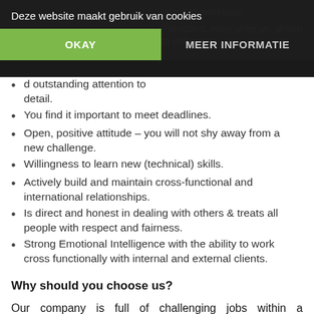priorities workload.
Persistent, more drive on, driven to deliver
d outstanding attention to detail.
You find it important to meet deadlines.
Open, positive attitude – you will not shy away from a new challenge.
Willingness to learn new (technical) skills.
Actively build and maintain cross-functional and international relationships.
Is direct and honest in dealing with others & treats all people with respect and fairness.
Strong Emotional Intelligence with the ability to work cross functionally with internal and external clients.
Why should you choose us?
Our company is full of challenging jobs within a multicultural environment. We are proud of having an unique and friendly atmosphere but